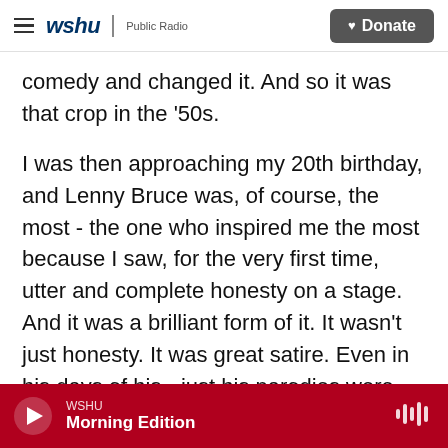wshu | Public Radio  [Donate button]
comedy and changed it. And so it was that crop in the '50s.
I was then approaching my 20th birthday, and Lenny Bruce was, of course, the most - the one who inspired me the most because I saw, for the very first time, utter and complete honesty on a stage. And it was a brilliant form of it. It wasn't just honesty. It was great satire. Even in his days of his - just his parodies were great. But then he started talking about religion and things, and I thought, boy, that's wonderful to know that you can do that, that it can be done. I didn't say, well, I'm going to do that,
WSHU  Morning Edition